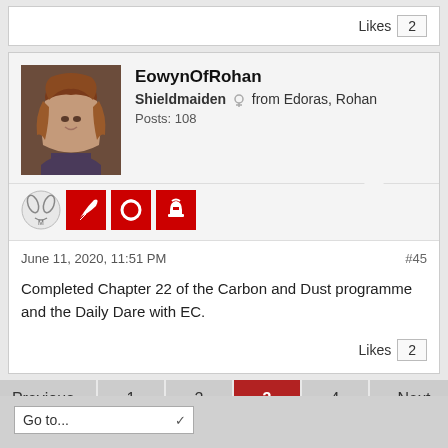Likes 2
EowynOfRohan
Shieldmaiden ♀ from Edoras, Rohan
Posts: 108
[Figure (photo): Avatar photo of EowynOfRohan, a woman with long reddish hair]
[Figure (other): User badges: wreath icon, red badge with quill, red badge with circular symbol, red badge with helmet]
June 11, 2020, 11:51 PM
#45
Completed Chapter 22 of the Carbon and Dust programme and the Daily Dare with EC.
Likes 2
Previous 1 2 3 4 Next
Go to...